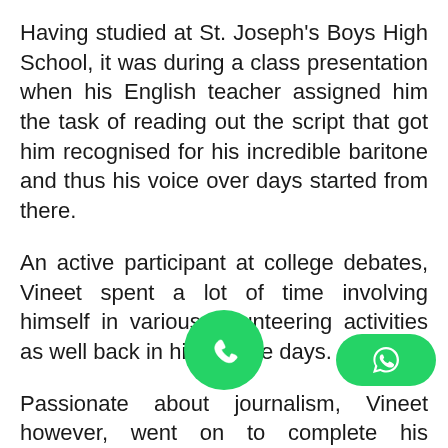Having studied at St. Joseph's Boys High School, it was during a class presentation when his English teacher assigned him the task of reading out the script that got him recognised for his incredible baritone and thus his voice over days started from there.
An active participant at college debates, Vineet spent a lot of time involving himself in various volunteering activities as well back in his college days.
Passionate about journalism, Vineet however, went on to complete his engineering given various nature mathematical abilities.